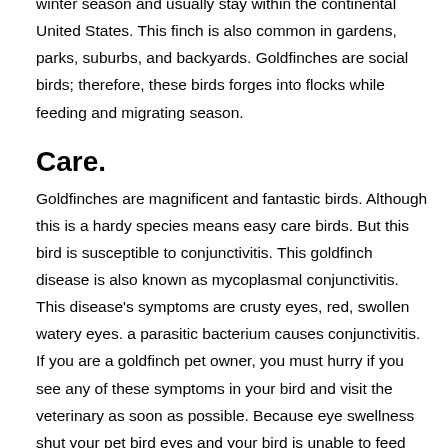winter season and usually stay within the continental United States. This finch is also common in gardens, parks, suburbs, and backyards. Goldfinches are social birds; therefore, these birds forges into flocks while feeding and migrating season.
Care.
Goldfinches are magnificent and fantastic birds. Although this is a hardy species means easy care birds. But this bird is susceptible to conjunctivitis. This goldfinch disease is also known as mycoplasmal conjunctivitis. This disease's symptoms are crusty eyes, red, swollen watery eyes. a parasitic bacterium causes conjunctivitis. If you are a goldfinch pet owner, you must hurry if you see any of these symptoms in your bird and visit the veterinary as soon as possible. Because eye swellness shut your pet bird eyes and your bird is unable to feed properly.
Diet.